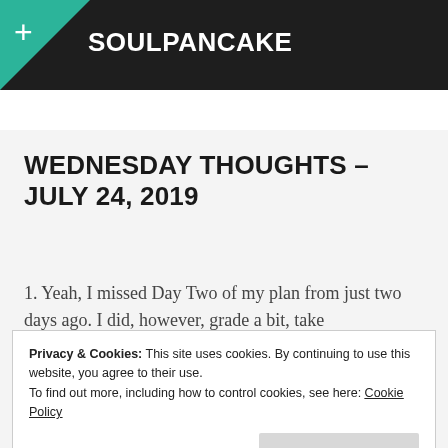SOULPANCAKE
WEDNESDAY THOUGHTS – JULY 24, 2019
1. Yeah, I missed Day Two of my plan from just two days ago. I did, however, grade a bit, take
Privacy & Cookies: This site uses cookies. By continuing to use this website, you agree to their use.
To find out more, including how to control cookies, see here: Cookie Policy
Close and accept